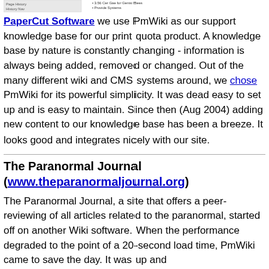[Figure (screenshot): Small screenshot thumbnail showing a wiki/CMS interface with menu items including Page History and possibly other navigation elements]
PaperCut Software we use PmWiki as our support knowledge base for our print quota product. A knowledge base by nature is constantly changing - information is always being added, removed or changed. Out of the many different wiki and CMS systems around, we chose PmWiki for its powerful simplicity. It was dead easy to set up and is easy to maintain. Since then (Aug 2004) adding new content to our knowledge base has been a breeze. It looks good and integrates nicely with our site.
The Paranormal Journal (www.theparanormaljournal.org)
The Paranormal Journal, a site that offers a peer-reviewing of all articles related to the paranormal, started off on another Wiki software. When the performance degraded to the point of a 20-second load time, PmWiki came to save the day. It was up and